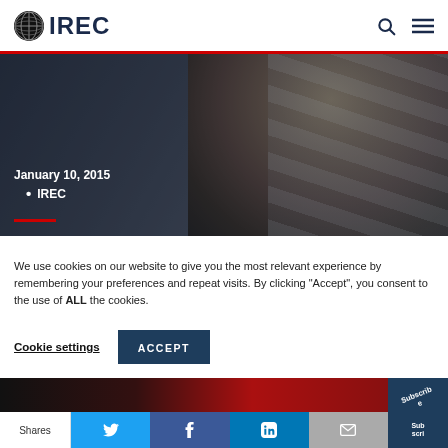IREC
[Figure (photo): Close-up photo of an older man with gray hair, with structural/industrial background elements and stripes. Overlay text shows January 10, 2015 and IREC tag with red underline.]
We use cookies on our website to give you the most relevant experience by remembering your preferences and repeat visits. By clicking “Accept”, you consent to the use of ALL the cookies.
Cookie settings   ACCEPT
[Figure (photo): Bottom partial photo strip showing dark and red tones, with a subscribe corner element and social sharing bar with Twitter, Facebook, LinkedIn, email, and Subscribe buttons.]